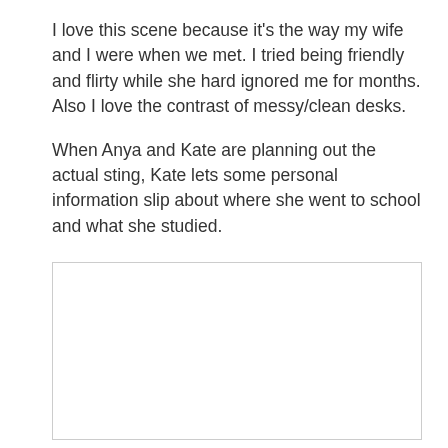I love this scene because it's the way my wife and I were when we met. I tried being friendly and flirty while she hard ignored me for months. Also I love the contrast of messy/clean desks.
When Anya and Kate are planning out the actual sting, Kate lets some personal information slip about where she went to school and what she studied.
[Figure (other): Empty white rectangle with a light gray border, representing an image placeholder.]